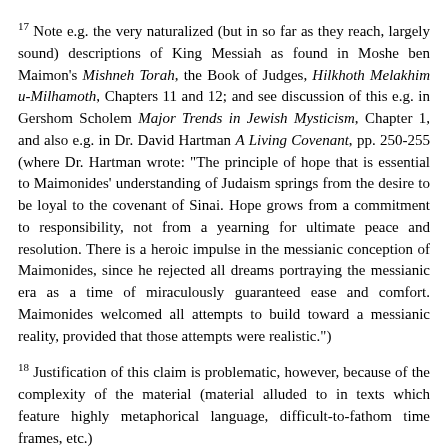17 Note e.g. the very naturalized (but in so far as they reach, largely sound) descriptions of King Messiah as found in Moshe ben Maimon's Mishneh Torah, the Book of Judges, Hilkhoth Melakhim u-Milhamoth, Chapters 11 and 12; and see discussion of this e.g. in Gershom Scholem Major Trends in Jewish Mysticism, Chapter 1, and also e.g. in Dr. David Hartman A Living Covenant, pp. 250-255 (where Dr. Hartman wrote: "The principle of hope that is essential to Maimonides' understanding of Judaism springs from the desire to be loyal to the covenant of Sinai. Hope grows from a commitment to responsibility, not from a yearning for ultimate peace and resolution. There is a heroic impulse in the messianic conception of Maimonides, since he rejected all dreams portraying the messianic era as a time of miraculously guaranteed ease and comfort. Maimonides welcomed all attempts to build toward a messianic reality, provided that those attempts were realistic.")
18 Justification of this claim is problematic, however, because of the complexity of the material (material alluded to in texts which feature highly metaphorical language, difficult-to-fathom time frames, etc.)
19 Recall e.g. the empirical appeal of Malakhi 3: 14-15, or Jeremiah 44: 15-18: "Then all the men who knew that their wives had burned incense to other gods; and all the women standing by (a great multitude, and all the people dwelling in Pathros in the land